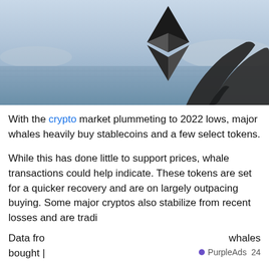[Figure (photo): A whale tail emerging from the ocean water, overlaid with the Ethereum (ETH) diamond logo in dark/black geometric style. Ocean and mountain horizon visible in background.]
With the crypto market plummeting to 2022 lows, major whales heavily buy stablecoins and a few select tokens.
While this has done little to support prices, whale transactions could help indicate. These tokens are set for a quicker recovery and are on largely outpacing buying. Some major cryptos also stabilize from recent losses and are tradi
Data fro                                                    whales
bought |                                     PurpleAds  24